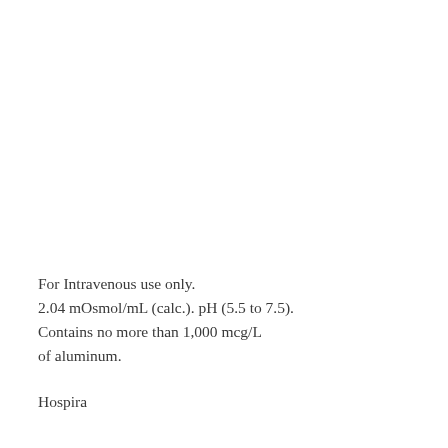For Intravenous use only. 2.04 mOsmol/mL (calc.). pH (5.5 to 7.5). Contains no more than 1,000 mcg/L of aluminum.
Hospira